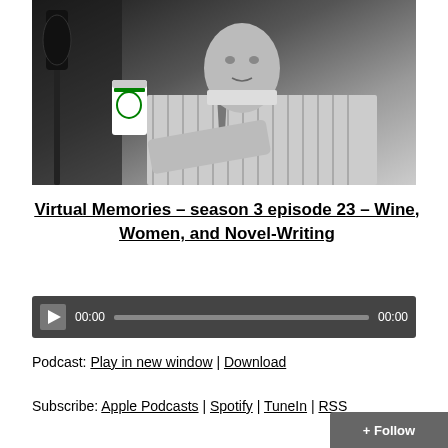[Figure (photo): Black and white photograph of a man in a striped shirt and tie, seated near a microphone stand, with a Starbucks coffee cup visible in the background. Studio or café setting.]
Virtual Memories – season 3 episode 23 – Wine, Women, and Novel-Writing
[Figure (other): Audio player widget with dark background, play button, progress bar showing 00:00 current time and 00:00 total time.]
Podcast: Play in new window | Download
Subscribe: Apple Podcasts | Spotify | TuneIn | RSS